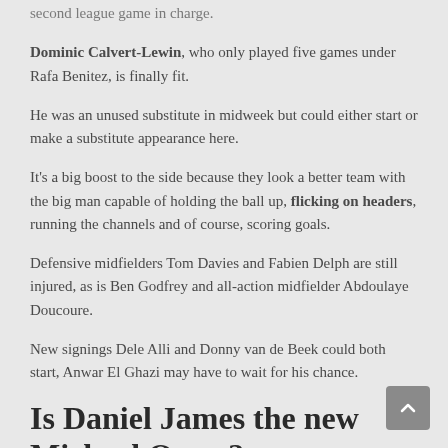second league game in charge.
Dominic Calvert-Lewin, who only played five games under Rafa Benitez, is finally fit.
He was an unused substitute in midweek but could either start or make a substitute appearance here.
It's a big boost to the side because they look a better team with the big man capable of holding the ball up, flicking on headers, running the channels and of course, scoring goals.
Defensive midfielders Tom Davies and Fabien Delph are still injured, as is Ben Godfrey and all-action midfielder Abdoulaye Doucoure.
New signings Dele Alli and Donny van de Beek could both start, Anwar El Ghazi may have to wait for his chance.
Is Daniel James the new Michael Owen?